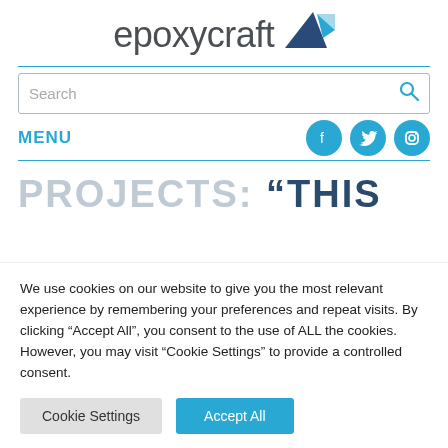[Figure (logo): Epoxycraft logo with text 'epoxycraft' and triangular geometric icon in dark blue and light blue]
[Figure (screenshot): Search bar with placeholder text 'Search' and blue magnifying glass icon on the right]
MENU
[Figure (infographic): Social media icons for Facebook, Twitter, and Instagram in cyan/teal circles]
PROJECTS: “THIS
We use cookies on our website to give you the most relevant experience by remembering your preferences and repeat visits. By clicking “Accept All”, you consent to the use of ALL the cookies. However, you may visit "Cookie Settings" to provide a controlled consent.